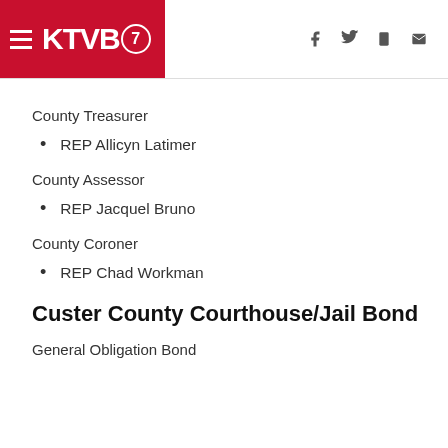KTVB7
County Treasurer
REP Allicyn Latimer
County Assessor
REP Jacquel Bruno
County Coroner
REP Chad Workman
Custer County Courthouse/Jail Bond
General Obligation Bond